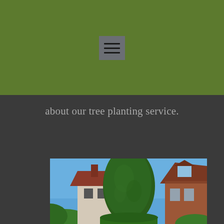[Figure (other): Green header bar with hamburger menu icon (three horizontal lines) centered on a gray button]
about our tree planting service.
[Figure (photo): Photo of a large rounded green tree (yew or similar) against a blue sky, flanked by brick residential houses]